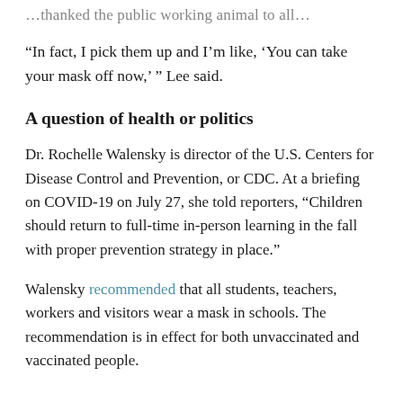…thanked the public working animal to all…
“In fact, I pick them up and I’m like, ‘You can take your mask off now,’ ” Lee said.
A question of health or politics
Dr. Rochelle Walensky is director of the U.S. Centers for Disease Control and Prevention, or CDC. At a briefing on COVID-19 on July 27, she told reporters, “Children should return to full-time in-person learning in the fall with proper prevention strategy in place.”
Walensky recommended that all students, teachers, workers and visitors wear a mask in schools. The recommendation is in effect for both unvaccinated and vaccinated people.